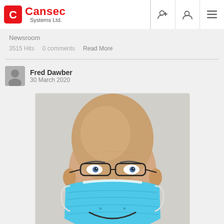Cansec Systems Ltd.
Newsroom
3515 Hits   0 comments   Read More
Fred Dawber
30 March 2020
[Figure (photo): Man wearing a blue surgical face mask with a drawn smile on it, glasses, bald head, wearing a red/maroon top, photographed from slightly below against a light grey background]